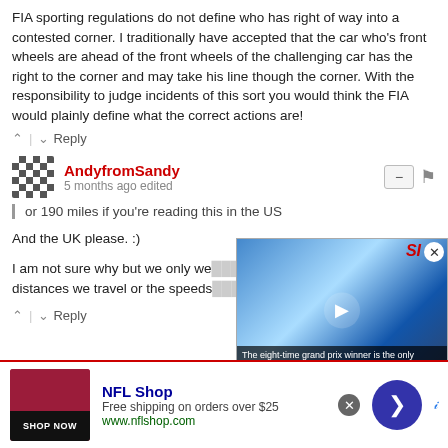FIA sporting regulations do not define who has right of way into a contested corner. I traditionally have accepted that the car who's front wheels are ahead of the front wheels of the challenging car has the right to the corner and may take his line though the corner. With the responsibility to judge incidents of this sort you would think the FIA would plainly define what the correct actions are!
↑ | ↓  Reply
AndyfromSandy
5 months ago edited
or 190 miles if you're reading this in the US
And the UK please. :)
I am not sure why but we only we... distances we travel or the speeds...
↑ | ↓  Reply
[Figure (screenshot): Video overlay showing a racing driver holding a trophy, with SI (Sports Illustrated) badge, close button, and caption: 'The eight-time grand prix winner is the only McLaren driver to win an F1 race in the last decade, but now, he's a free agent.']
[Figure (other): NFL Shop advertisement banner with red product image, shop now button, NFL Shop title, 'Free shipping on orders over $25', www.nflshop.com, close button, and blue arrow button.]